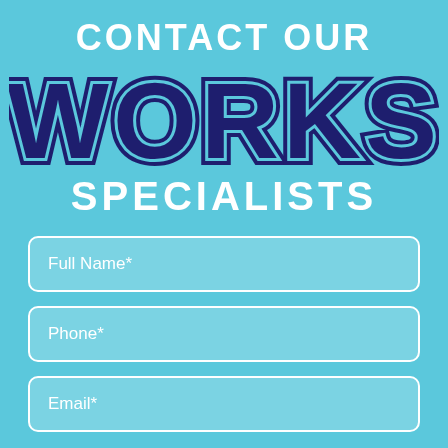CONTACT OUR WORKS SPECIALISTS
Full Name*
Phone*
Email*